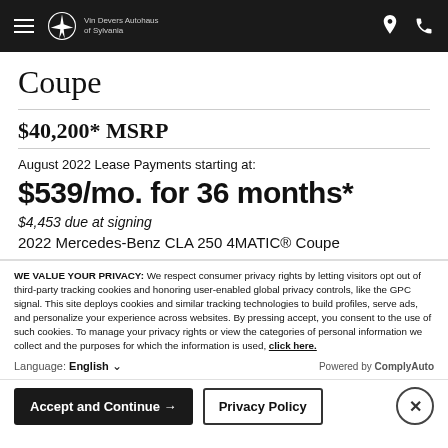Vin Devers Autohaus of Sylvania
Coupe
$40,200* MSRP
August 2022 Lease Payments starting at:
$539/mo. for 36 months*
$4,453 due at signing
2022 Mercedes-Benz CLA 250 4MATIC® Coupe
WE VALUE YOUR PRIVACY: We respect consumer privacy rights by letting visitors opt out of third-party tracking cookies and honoring user-enabled global privacy controls, like the GPC signal. This site deploys cookies and similar tracking technologies to build profiles, serve ads, and personalize your experience across websites. By pressing accept, you consent to the use of such cookies. To manage your privacy rights or view the categories of personal information we collect and the purposes for which the information is used, click here.
Language: English
Powered by ComplyAuto
Accept and Continue →
Privacy Policy